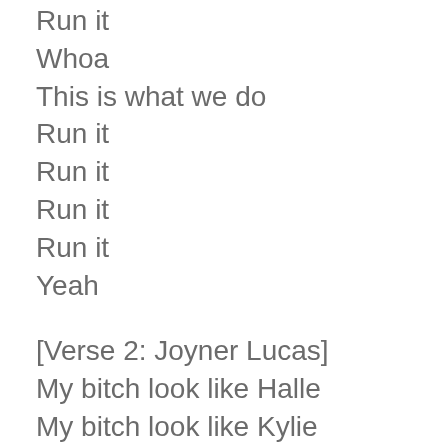Run it
Whoa
This is what we do
Run it
Run it
Run it
Run it
Yeah
[Verse 2: Joyner Lucas]
My bitch look like Halle
My bitch look like Kylie
Your bitch don't look happy
None of ya'll hoes can have me